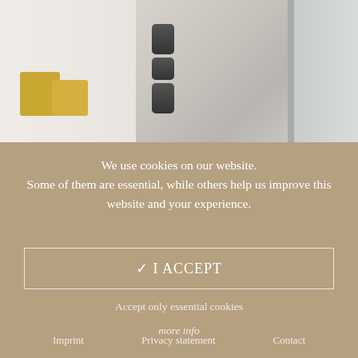[Figure (photo): Blurred interior room photo showing a door, door frame, and a smart home device mounted on the wall. Background shows a living area with yellow chairs.]
We use cookies on our website. Some of them are essential, while others help us improve this website and your experience.
✓ I ACCEPT
Accept only essential cookies
more info
Imprint   Privacy statement   Contact